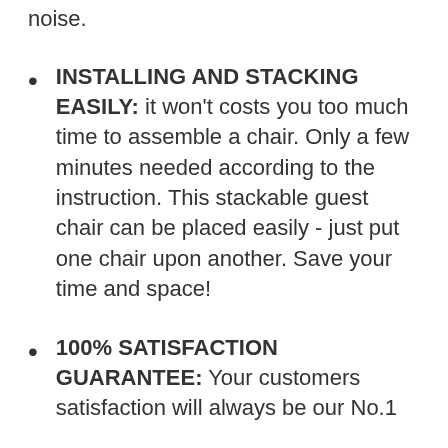noise.
INSTALLING AND STACKING EASILY: it won't costs you too much time to assemble a chair. Only a few minutes needed according to the instruction. This stackable guest chair can be placed easily - just put one chair upon another. Save your time and space!
100% SATISFACTION GUARANTEE: Your customers satisfaction will always be our No.1 priority...